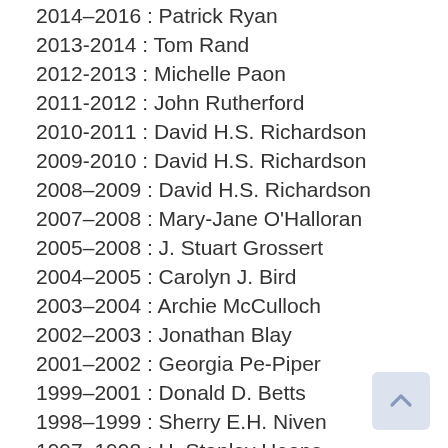2014–2016 : Patrick Ryan
2013-2014 : Tom Rand
2012-2013 : Michelle Paon
2011-2012 : John Rutherford
2010-2011 : David H.S. Richardson
2009-2010 : David H.S. Richardson
2008–2009 : David H.S. Richardson
2007–2008 : Mary-Jane O'Halloran
2005–2008 : J. Stuart Grossert
2004–2005 : Carolyn J. Bird
2003–2004 : Archie McCulloch
2002–2003 : Jonathan Blay
2001–2002 : Georgia Pe-Piper
1999–2001 : Donald D. Betts
1998–1999 : Sherry E.H. Niven
1997–1998 : H. Stanley Heaps
1996–1997 : Gerhard Stroink
1995–1996 : Rajendra P. Gupta
1994–1995 : Mary Anne White